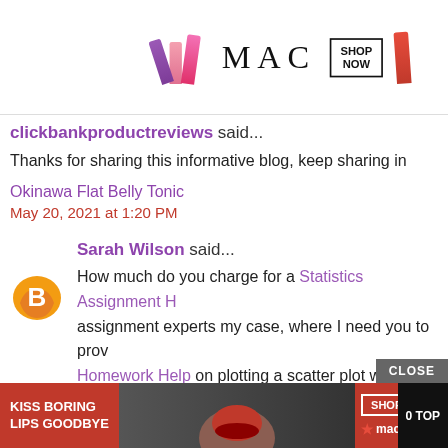[Figure (photo): MAC Cosmetics advertisement banner showing lipsticks in purple, pink, and red colors with MAC logo and SHOP NOW box]
clickbankproductreviews said...
Thanks for sharing this informative blog, keep sharing in
Okinawa Flat Belly Tonic
May 20, 2021 at 1:20 PM
Sarah Wilson said...
How much do you charge for a Statistics Assignment H... assignment experts my case, where I need you to prov... Homework Help on plotting a scatter plot with a regres... that cost? Do you charge on the basis of the workload... payment?
[Figure (photo): Macy's advertisement banner with KISS BORING LIPS GOODBYE text, woman with red lips, SHOP NOW button and Macy's logo]
CLOSE
0 TOP